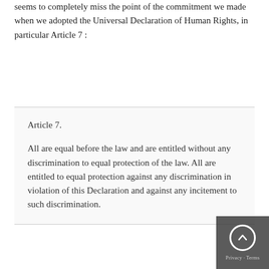seems to completely miss the point of the commitment we made when we adopted the Universal Declaration of Human Rights, in particular Article 7 :
Article 7.

All are equal before the law and are entitled without any discrimination to equal protection of the law. All are entitled to equal protection against any discrimination in violation of this Declaration and against any incitement to such discrimination.
This simple statement seems to be saying to me – and has legally been interpreted as requiring – that signatories to the Declaration, which includes Australia, are required to treat all persons equally under their laws regardless of race, gender, national origin, color, ethnicity, religion, disability or other characteristics, without privilege, discrimination, or bias. Nowhere that I can see does it have a conditional exemption for gay...